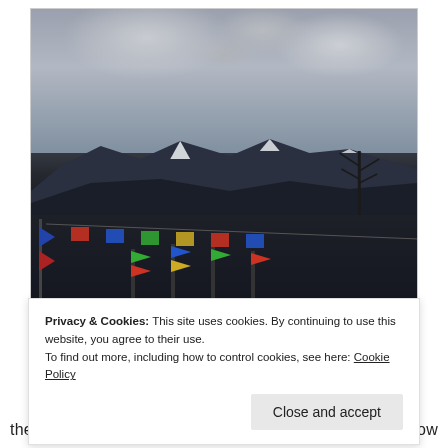[Figure (photo): Outdoor photograph showing snow-capped mountains under a cloudy grey sky, with dark mountain silhouettes in the foreground and colorful prayer flags at the bottom left and center of the image, and a bare tree on the right side.]
Privacy & Cookies: This site uses cookies. By continuing to use this website, you agree to their use.
To find out more, including how to control cookies, see here: Cookie Policy
[Close and accept button]
these plants. With the Sun rising, these light layers of snow